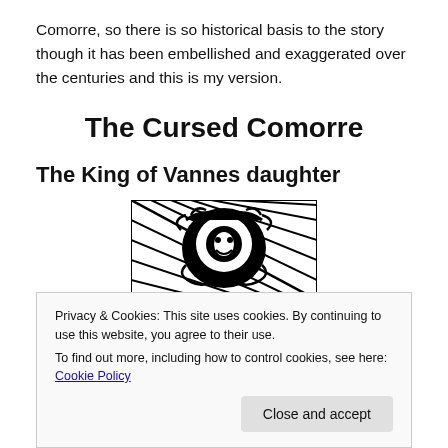Comorre, so there is so historical basis to the story though it has been embellished and exaggerated over the centuries and this is my version.
The Cursed Comorre
The King of Vannes daughter
[Figure (illustration): Black and white woodcut-style illustration showing a figure with dramatic swirling lines and decorative elements.]
Privacy & Cookies: This site uses cookies. By continuing to use this website, you agree to their use.
To find out more, including how to control cookies, see here: Cookie Policy
Close and accept